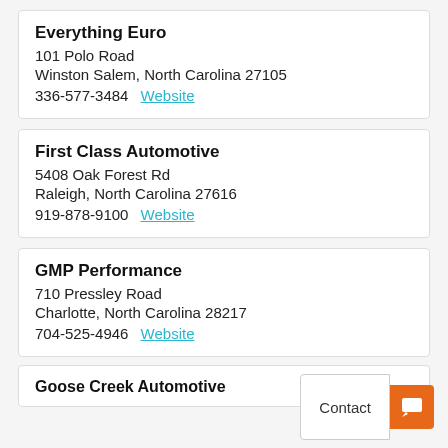Everything Euro
101 Polo Road
Winston Salem, North Carolina 27105
336-577-3484   Website
First Class Automotive
5408 Oak Forest Rd
Raleigh, North Carolina 27616
919-878-9100   Website
GMP Performance
710 Pressley Road
Charlotte, North Carolina 28217
704-525-4946   Website
Goose Creek Automotive